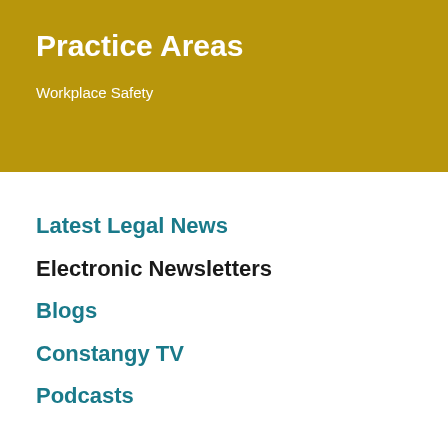Practice Areas
Workplace Safety
Latest Legal News
Electronic Newsletters
Blogs
Constangy TV
Podcasts